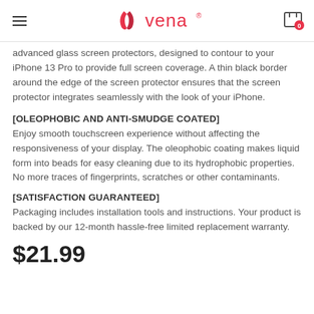Vena (logo)
advanced glass screen protectors, designed to contour to your iPhone 13 Pro to provide full screen coverage. A thin black border around the edge of the screen protector ensures that the screen protector integrates seamlessly with the look of your iPhone.
[OLEOPHOBIC AND ANTI-SMUDGE COATED]
Enjoy smooth touchscreen experience without affecting the responsiveness of your display. The oleophobic coating makes liquid form into beads for easy cleaning due to its hydrophobic properties. No more traces of fingerprints, scratches or other contaminants.
[SATISFACTION GUARANTEED]
Packaging includes installation tools and instructions. Your product is backed by our 12-month hassle-free limited replacement warranty.
$21.99